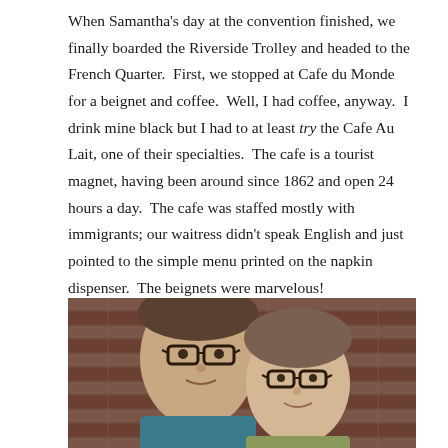When Samantha's day at the convention finished, we finally boarded the Riverside Trolley and headed to the French Quarter.  First, we stopped at Cafe du Monde for a beignet and coffee.  Well, I had coffee, anyway.  I drink mine black but I had to at least try the Cafe Au Lait, one of their specialties.  The cafe is a tourist magnet, having been around since 1862 and open 24 hours a day.  The cafe was staffed mostly with immigrants; our waitress didn't speak English and just pointed to the simple menu printed on the napkin dispenser.  The beignets were marvelous!
[Figure (photo): A photo of two people wearing glasses, posing together close up, with a brick wall visible in the background.]